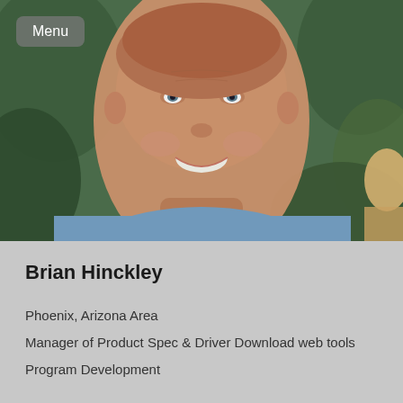[Figure (photo): Close-up portrait photo of a smiling man with short hair wearing a blue shirt, with green foliage in the background and a partial figure of a blonde person to the right.]
Menu
Brian Hinckley
Phoenix, Arizona Area
Manager of Product Spec & Driver Download web tools
Program Development